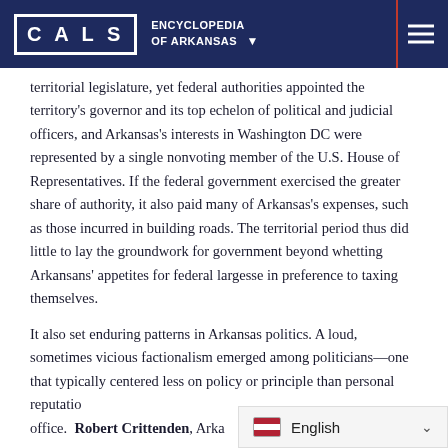CALS ENCYCLOPEDIA OF ARKANSAS
territorial legislature, yet federal authorities appointed the territory's governor and its top echelon of political and judicial officers, and Arkansas's interests in Washington DC were represented by a single nonvoting member of the U.S. House of Representatives. If the federal government exercised the greater share of authority, it also paid many of Arkansas's expenses, such as those incurred in building roads. The territorial period thus did little to lay the groundwork for government beyond whetting Arkansans' appetites for federal largesse in preference to taxing themselves.
It also set enduring patterns in Arkansas politics. A loud, sometimes vicious factionalism emerged among politicians—one that typically centered less on policy or principle than personal reputation and the spoils of office. Robert Crittenden, Arka…